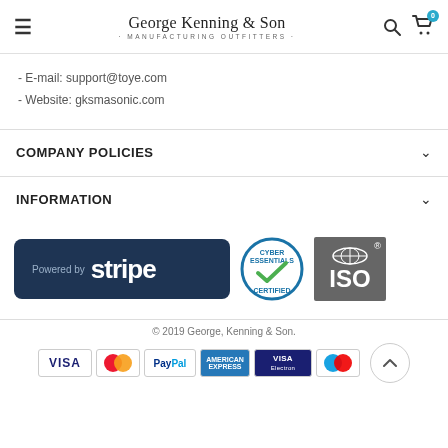George Kenning & Son · Manufacturing Outfitters
- E-mail: support@toye.com
- Website: gksmasonic.com
COMPANY POLICIES
INFORMATION
[Figure (logo): Powered by Stripe badge, Cyber Essentials Certified badge, ISO certified badge]
© 2019 George, Kenning & Son.
[Figure (logo): Payment method logos: VISA, Mastercard, PayPal, American Express, VISA Electron, Maestro]